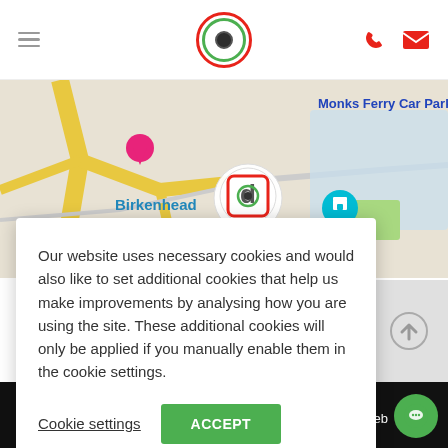[Figure (screenshot): Website header with hamburger menu icon on left, circular logo with red outer ring and green inner ring in center, phone and mail icons in red on right]
[Figure (map): Map showing Birkenhead area with Monks Ferry Car Park label, location pin with logo, and teal museum marker]
Our website uses necessary cookies and would also like to set additional cookies that help us make improvements by analysing how you are using the site. These additional cookies will only be applied if you manually enable them in the cookie settings.
Cookie settings  ACCEPT
Cookies Policy | Web